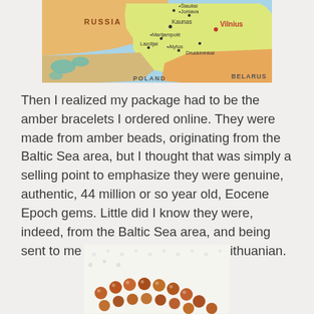[Figure (map): Political map of Lithuania and surrounding regions showing cities including Vilnius, Kaunas, Alytus, Marijampole, Druskininkai, and neighboring countries Russia, Poland, and Belarus.]
Then I realized my package had to be the amber bracelets I ordered online. They were made from amber beads, originating from the Baltic Sea area, but I thought that was simply a selling point to emphasize they were genuine, authentic, 44 million or so year old, Eocene Epoch gems. Little did I know they were, indeed, from the Baltic Sea area, and being sent to me by a genuine, authentic Lithuanian.
[Figure (photo): Photo of amber bead bracelets with reddish-brown beads arranged on a white lace cloth.]